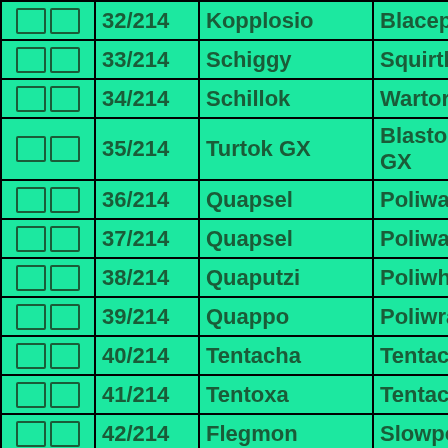|  | Number | German Name | English Name |
| --- | --- | --- | --- |
| ☐ ☐ | 32/214 | Kopplosio | Blacephalon |
| ☐ ☐ | 33/214 | Schiggy | Squirtle |
| ☐ ☐ | 34/214 | Schillok | Wartortle |
| ☐ ☐ | 35/214 | Turtok GX | Blastoise GX |
| ☐ ☐ | 36/214 | Quapsel | Poliwag |
| ☐ ☐ | 37/214 | Quapsel | Poliwag |
| ☐ ☐ | 38/214 | Quaputzi | Poliwhirl |
| ☐ ☐ | 39/214 | Quappo | Poliwrath |
| ☐ ☐ | 40/214 | Tentacha | Tentacool |
| ☐ ☐ | 41/214 | Tentoxa | Tentacruel |
| ☐ ☐ | 42/214 | Flegmon | Slowpoke |
| ☐ ☐ | 43/214 | Lahmus | Slowbro |
| ☐ ☐ | 44/214 | Jurob | Seel |
| ☐ ☐ | 45/214 | Jugong | Dewgong |
| ☐ ☐ | 46/214 | Krabby | Krabby |
| ☐ ☐ | 47/214 | ... | ... |